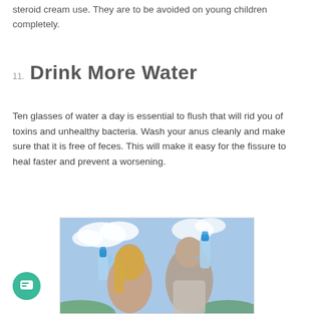steroid cream use. They are to be avoided on young children completely.
11. Drink More Water
Ten glasses of water a day is essential to flush that will rid you of toxins and unhealthy bacteria. Wash your anus cleanly and make sure that it is free of feces. This will make it easy for the fissure to heal faster and prevent a worsening.
[Figure (photo): A man and a woman back to back, both drinking from large plastic water bottles, with a cloudy blue sky background.]